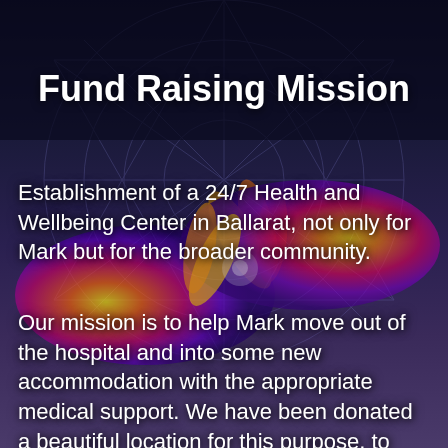Fund Raising Mission
Establishment of a 24/7 Health and Wellbeing Center in Ballarat, not only for Mark but for the broader community.
Our mission is to help Mark move out of the hospital and into some new accommodation with the appropriate medical support. We have been donated a beautiful location for this purpose, to setup